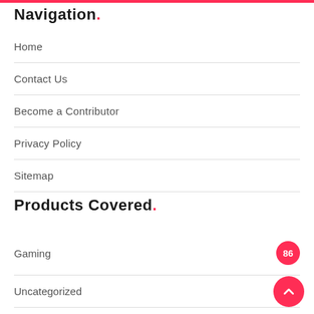Navigation.
Home
Contact Us
Become a Contributor
Privacy Policy
Sitemap
Products Covered.
Gaming  86
Uncategorized